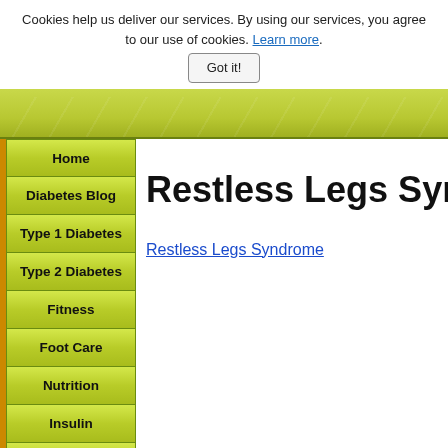Cookies help us deliver our services. By using our services, you agree to our use of cookies. Learn more.
Got it!
[Figure (other): Green leaf textured header banner]
Home
Diabetes Blog
Type 1 Diabetes
Type 2 Diabetes
Fitness
Foot Care
Nutrition
Insulin
Hypoglycemia
Depression
Restless Legs Syndrome
Restless Legs Syndrome